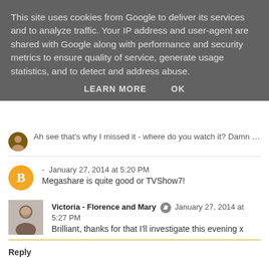This site uses cookies from Google to deliver its services and to analyze traffic. Your IP address and user-agent are shared with Google along with performance and security metrics to ensure quality of service, generate usage statistics, and to detect and address abuse.
LEARN MORE   OK
Ah see that's why I missed it - where do you watch it? Damn OK t
- January 27, 2014 at 5:20 PM
Megashare is quite good or TVShow7!
Victoria - Florence and Mary  January 27, 2014 at 5:27 PM
Brilliant, thanks for that I'll investigate this evening x
Reply
Anonymous January 27, 2014 at 2:03 PM
I'm loving Hostages and Grey's, as well. And Nashville is back next months